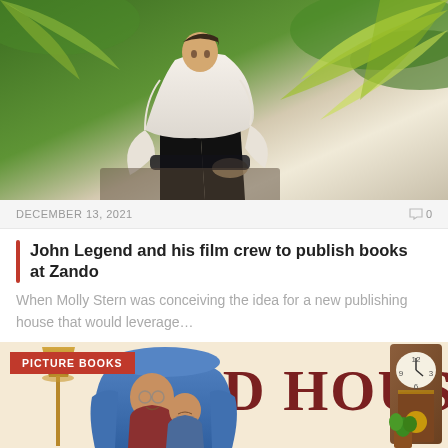[Figure (photo): Person in white shirt sitting among tropical palm leaves, photographed from a slightly elevated angle. Lush green and yellow-green palm fronds frame the image.]
DECEMBER 13, 2021
0
John Legend and his film crew to publish books at Zando
When Molly Stern was conceiving the idea for a new publishing house that would leverage…
[Figure (illustration): Book cover illustration showing 'OLD HOUSE' title text in large maroon letters. A grandfather and grandchild sit together in a blue wingback chair. A floor lamp is on the left, a grandfather clock on the upper right, and a potted plant on the lower right. The background is cream-colored. A red 'PICTURE BOOKS' badge overlays the upper left corner.]